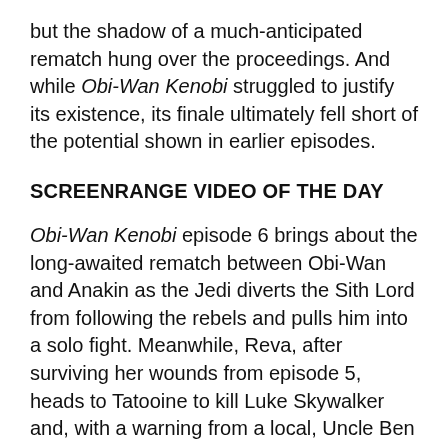but the shadow of a much-anticipated rematch hung over the proceedings. And while Obi-Wan Kenobi struggled to justify its existence, its finale ultimately fell short of the potential shown in earlier episodes.
SCREENRANGE VIDEO OF THE DAY
Obi-Wan Kenobi episode 6 brings about the long-awaited rematch between Obi-Wan and Anakin as the Jedi diverts the Sith Lord from following the rebels and pulls him into a solo fight. Meanwhile, Reva, after surviving her wounds from episode 5, heads to Tatooine to kill Luke Skywalker and, with a warning from a local, Uncle Ben and Beru prepare to stand their ground against the Third Sister.